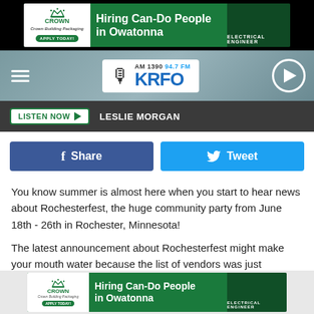[Figure (screenshot): Crown Holdings ad banner: Hiring Can-Do People in Owatonna, Electrical Engineer]
[Figure (logo): KRFO AM 1390 94.7 FM radio station navigation bar with hamburger menu and play button]
LISTEN NOW  LESLIE MORGAN
[Figure (infographic): Facebook Share and Twitter Tweet social sharing buttons]
You know summer is almost here when you start to hear news about Rochesterfest, the huge community party from June 18th - 26th in Rochester, Minnesota!
The latest announcement about Rochesterfest might make your mouth water because the list of vendors was just announced...and basically every fair food group is covered!
[Figure (screenshot): Crown Holdings ad banner at bottom: Hiring Can-Do People in Owatonna, Electrical Engineer]